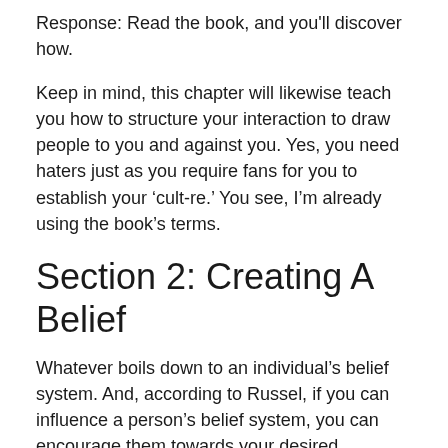Response: Read the book, and you'll discover how.
Keep in mind, this chapter will likewise teach you how to structure your interaction to draw people to you and against you. Yes, you need haters just as you require fans for you to establish your ‘cult-re.’ You see, I’m already using the book’s terms.
Section 2: Creating A Belief
Whatever boils down to an individual’s belief system. And, according to Russel, if you can influence a person’s belief system, you can encourage them towards your desired instructions as the leader.